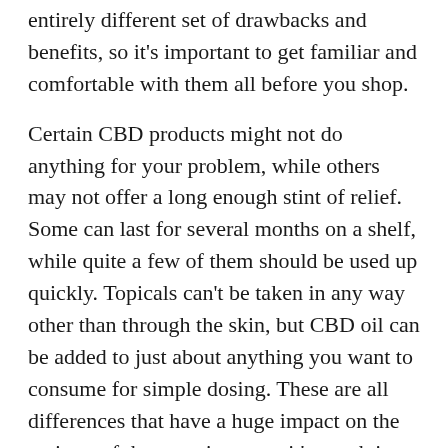entirely different set of drawbacks and benefits, so it's important to get familiar and comfortable with them all before you shop.
Certain CBD products might not do anything for your problem, while others may not offer a long enough stint of relief. Some can last for several months on a shelf, while quite a few of them should be used up quickly. Topicals can’t be taken in any way other than through the skin, but CBD oil can be added to just about anything you want to consume for simple dosing. These are all differences that have a huge impact on the entirety of the experience, so it’s worth it to do a bit of extra research.
Pick a type of CBD extract
There are many different types of CBD products on the market, and each of them will fit 1 of 3 CBD...